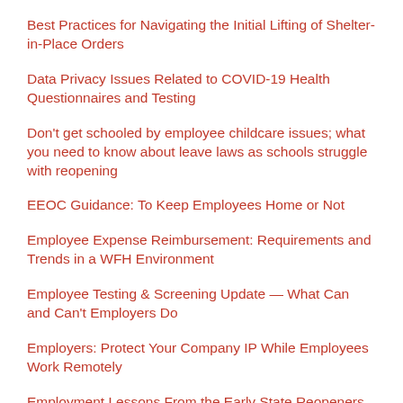Best Practices for Navigating the Initial Lifting of Shelter-in-Place Orders
Data Privacy Issues Related to COVID-19 Health Questionnaires and Testing
Don't get schooled by employee childcare issues; what you need to know about leave laws as schools struggle with reopening
EEOC Guidance: To Keep Employees Home or Not
Employee Expense Reimbursement: Requirements and Trends in a WFH Environment
Employee Testing & Screening Update — What Can and Can't Employers Do
Employers: Protect Your Company IP While Employees Work Remotely
Employment Lessons From the Early State Reopeners